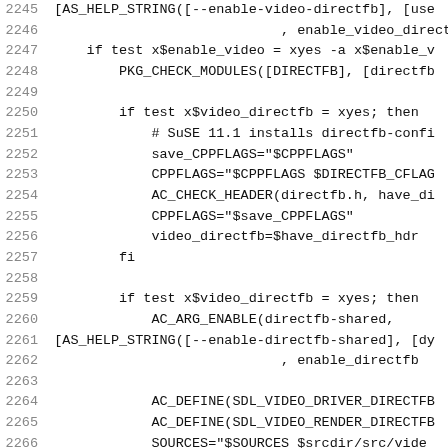Code listing lines 2245-2266 showing configure.ac shell/m4 script content for SDL DirectFB video driver configuration